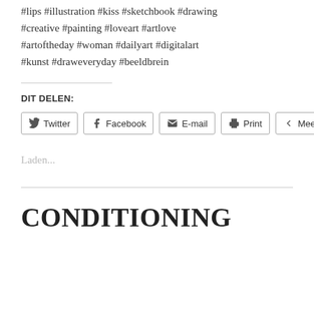#lips #illustration #kiss #sketchbook #drawing #creative #painting #loveart #artlove #artoftheday #woman #dailyart #digitalart #kunst #draweveryday #beeldbrein
DIT DELEN:
Twitter | Facebook | E-mail | Print | Meer
Laden...
CONDITIONING